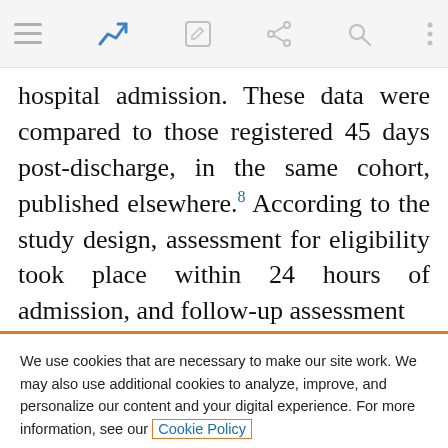[Figure (screenshot): Mobile browser toolbar with hamburger menu, blue analytics icon, edit icon, share icon, search icon, and more options icon on grey background]
hospital admission. These data were compared to those registered 45 days post-discharge, in the same cohort, published elsewhere.⁸ According to the study design, assessment for eligibility took place within 24 hours of admission, and follow-up assessment
We use cookies that are necessary to make our site work. We may also use additional cookies to analyze, improve, and personalize our content and your digital experience. For more information, see our Cookie Policy
Cookie settings
Accept all cookies